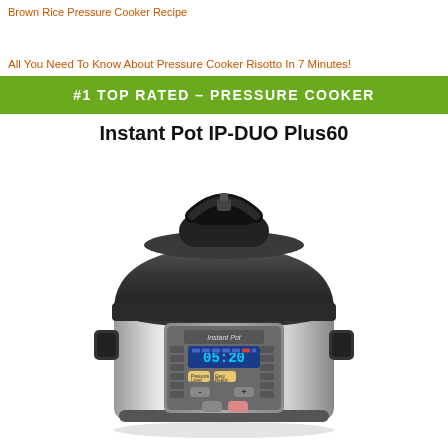Brown Rice Pressure Cooker Recipe
All You Need To Know About Pressure Cooker Risotto In 7 Minutes!
#1 TOP RATED – PRESSURE COOKER
Instant Pot IP-DUO Plus60
[Figure (photo): Instant Pot IP-DUO Plus60 pressure cooker, stainless steel body with black lid, digital display showing 05:20]